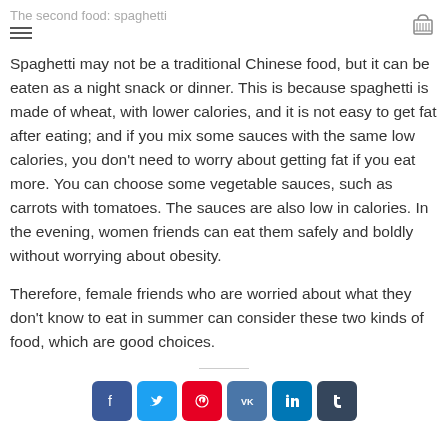The second food: spaghetti
Spaghetti may not be a traditional Chinese food, but it can be eaten as a night snack or dinner. This is because spaghetti is made of wheat, with lower calories, and it is not easy to get fat after eating; and if you mix some sauces with the same low calories, you don't need to worry about getting fat if you eat more. You can choose some vegetable sauces, such as carrots with tomatoes. The sauces are also low in calories. In the evening, women friends can eat them safely and boldly without worrying about obesity.
Therefore, female friends who are worried about what they don't know to eat in summer can consider these two kinds of food, which are good choices.
[Figure (other): Social sharing buttons: Facebook, Twitter, Pinterest, VK, LinkedIn, Tumblr]